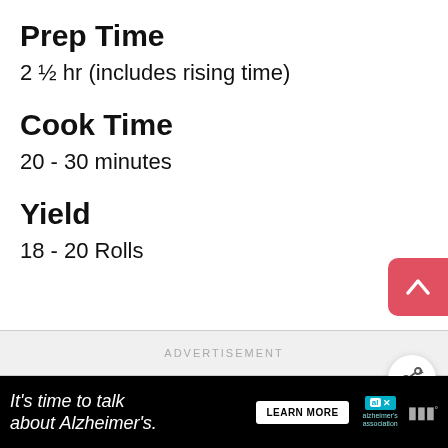Prep Time
2 ½ hr (includes rising time)
Cook Time
20 - 30 minutes
Yield
18 - 20 Rolls
[Figure (screenshot): Advertisement placeholder area with centered text 'ADVERTISEMENT' and three small dots below]
[Figure (screenshot): Share button (circular white button with share icon)]
[Figure (screenshot): What's Next panel with bread image and text 'WHAT'S NEXT → How To Make Quick and...']
[Figure (screenshot): Bottom advertisement banner: 'It's time to talk about Alzheimer's.' with LEARN MORE button and Alzheimer's Association logo]
[Figure (screenshot): Red scroll-to-top button with upward arrow]